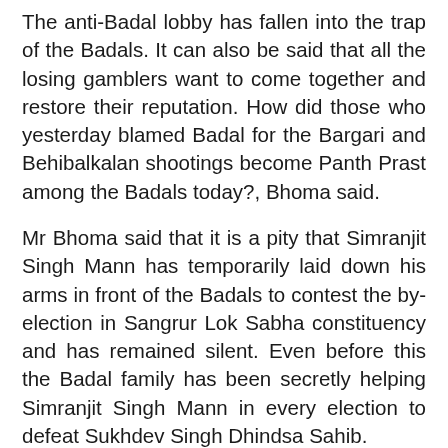The anti-Badal lobby has fallen into the trap of the Badals. It can also be said that all the losing gamblers want to come together and restore their reputation. How did those who yesterday blamed Badal for the Bargari and Behibalkalan shootings become Panth Prast among the Badals today?, Bhoma said.
Mr Bhoma said that it is a pity that Simranjit Singh Mann has temporarily laid down his arms in front of the Badals to contest the by-election in Sangrur Lok Sabha constituency and has remained silent. Even before this the Badal family has been secretly helping Simranjit Singh Mann in every election to defeat Sukhdev Singh Dhindsa Sahib.